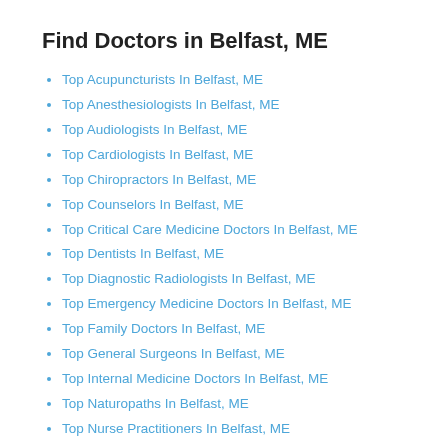Find Doctors in Belfast, ME
Top Acupuncturists In Belfast, ME
Top Anesthesiologists In Belfast, ME
Top Audiologists In Belfast, ME
Top Cardiologists In Belfast, ME
Top Chiropractors In Belfast, ME
Top Counselors In Belfast, ME
Top Critical Care Medicine Doctors In Belfast, ME
Top Dentists In Belfast, ME
Top Diagnostic Radiologists In Belfast, ME
Top Emergency Medicine Doctors In Belfast, ME
Top Family Doctors In Belfast, ME
Top General Surgeons In Belfast, ME
Top Internal Medicine Doctors In Belfast, ME
Top Naturopaths In Belfast, ME
Top Nurse Practitioners In Belfast, ME
Top Obstetricians & Gynecologists (OBGYN) In Belfast,